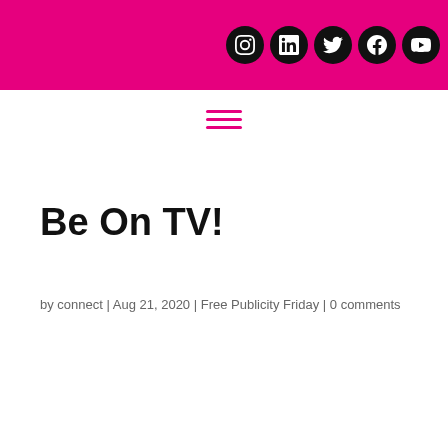Social media icons: Instagram, LinkedIn, Twitter, Facebook, YouTube
[Figure (other): Hamburger menu icon (three horizontal pink lines)]
Be On TV!
by connect | Aug 21, 2020 | Free Publicity Friday | 0 comments